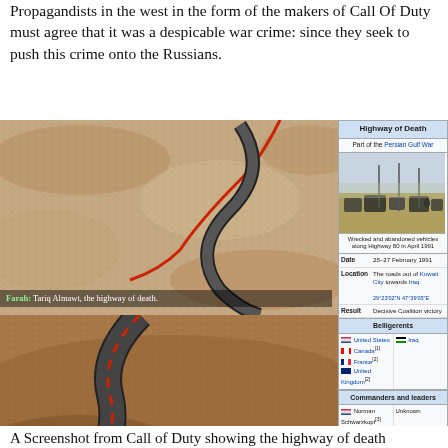Propagandists in the west in the form of the makers of Call Of Duty must agree that it was a despicable war crime: since they seek to push this crime onto the Russians.
[Figure (screenshot): Screenshot from the video game Call of Duty showing a winding road/highway called 'Tariq Almawt, the highway of death' with subtitle from character Farah, alongside a Wikipedia infobox for 'Highway of Death' (part of the Persian Gulf War) showing wrecked and abandoned vehicles along Highway 80 in April 1991, date 25-27 February 1991, location: The roads out of Kuwait City towards Iraq, result: Decisive Coalition victory, belligerents: United States, Canada, France, United Kingdom vs Iraq, commanders: Norman Schwarzkopf vs Unknown]
A Screenshot from Call of Duty showing the highway of death